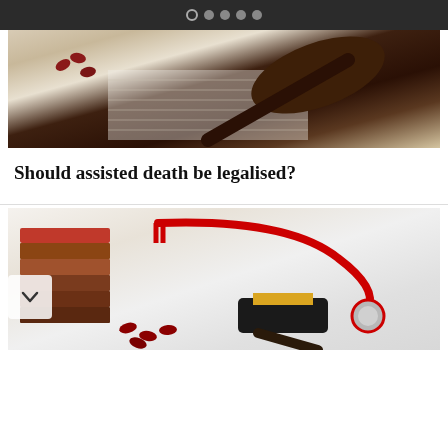Navigation dots indicator (5 dots, first empty, rest filled)
[Figure (photo): A judge's wooden gavel resting on a notebook with grid paper and dark red/maroon pills visible in the upper left corner, on a white surface.]
Should assisted death be legalised?
[Figure (photo): A stack of old brown books, a red stethoscope, dark red pills, and a judge's gavel with gold band, all arranged on a white surface — symbolizing law and medicine intersecting.]